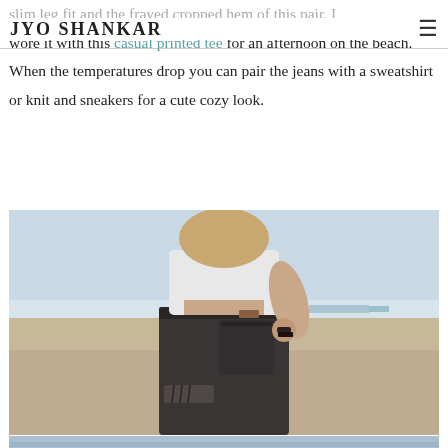JYO SHANKAR
slim leg fit and the frayed cropped hem of this pair. I wore it with this casual printed tee for an afternoon on the beach. When the temperatures drop you can pair the jeans with a sweatshirt or knit and sneakers for a cute cozy look.
[Figure (photo): Person wearing dark distressed jeans and a white crop top at the beach, photographed from behind]
[Figure (photo): Partial view of another beach photo at bottom of page]